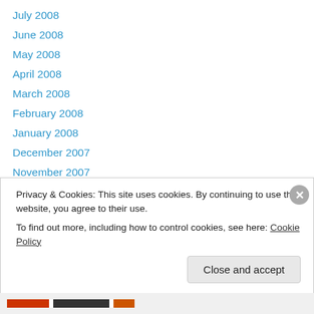July 2008
June 2008
May 2008
April 2008
March 2008
February 2008
January 2008
December 2007
November 2007
October 2007
September 2007
August 2007
July 2007
Privacy & Cookies: This site uses cookies. By continuing to use this website, you agree to their use. To find out more, including how to control cookies, see here: Cookie Policy